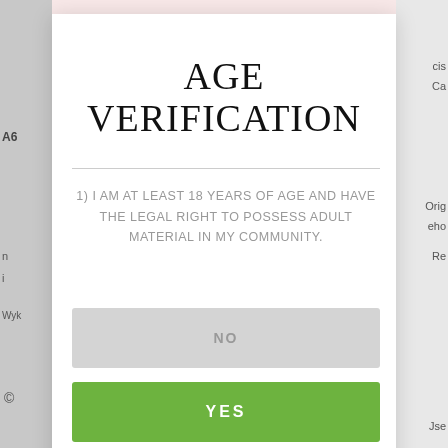AGE VERIFICATION
1) I AM AT LEAST 18 YEARS OF AGE AND HAVE THE LEGAL RIGHT TO POSSESS ADULT MATERIAL IN MY COMMUNITY.
NO
YES
LANCE HARDWOOD